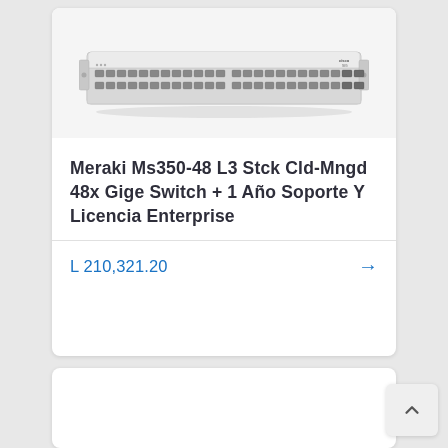[Figure (photo): Cisco Meraki MS350-48 network switch — a 1U rack-mounted white/silver switch with 48 Gigabit Ethernet ports and 4 SFP uplink ports visible on the front panel.]
Meraki Ms350-48 L3 Stck Cld-Mngd 48x Gige Switch + 1 Año Soporte Y Licencia Enterprise
L 210,321.20